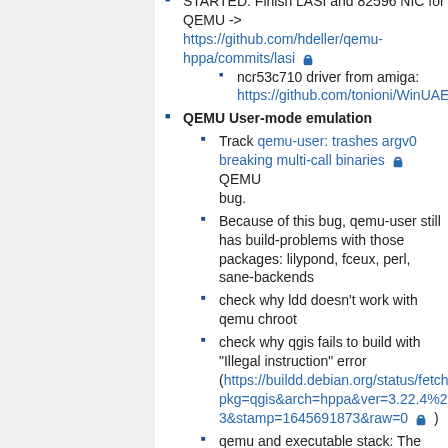STARTED: Finish LASI and 82596 NIC for QEMU -> https://github.com/hdeller/qemu-hppa/commits/lasi 🔒
ncr53c710 driver from amiga: https://github.com/tonioni/WinUAE/blob
QEMU User-mode emulation
Track qemu-user: trashes argv0 breaking multi-call binaries 🔒 QEMU bug.
Because of this bug, qemu-user still has build-problems with those packages: lilypond, fceux, perl, sane-backends
check why ldd doesn't work with qemu chroot
check why qgis fails to build with "Illegal instruction" error (https://buildd.debian.org/status/fetch.php?pkg=qgis&arch=hppa&ver=3.22.4%2Bdfsg3&stamp=1645691873&raw=0 🔒 )
qemu and executable stack: The following error occurred on pacific in mlton build: /usr/lib/mlton/mlton-